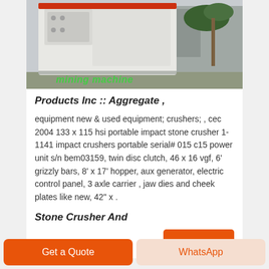[Figure (photo): A large white industrial stone crusher / impact crusher machine photographed outdoors with palm trees in background. Green italic text 'mining machine' overlaid in lower right of photo.]
Products Inc :: Aggregate ,
equipment new & used equipment; crushers; , cec 2004 133 x 115 hsi portable impact stone crusher 1-1141 impact crushers portable serial# 015 c15 power unit s/n bem03159, twin disc clutch, 46 x 16 vgf, 6' grizzly bars, 8' x 17' hopper, aux generator, electric control panel, 3 axle carrier , jaw dies and cheek plates like new, 42" x .
Stone Crusher And
Get a Quote
WhatsApp